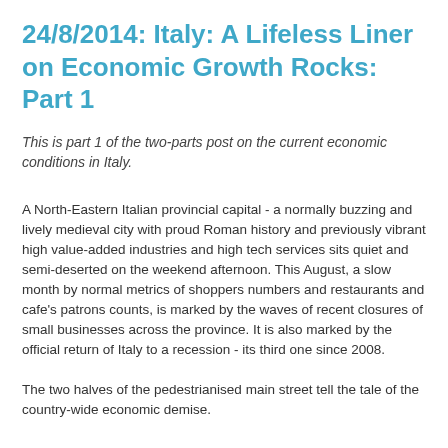24/8/2014: Italy: A Lifeless Liner on Economic Growth Rocks: Part 1
This is part 1 of the two-parts post on the current economic conditions in Italy.
A North-Eastern Italian provincial capital - a normally buzzing and lively medieval city with proud Roman history and previously vibrant high value-added industries and high tech services sits quiet and semi-deserted on the weekend afternoon. This August, a slow month by normal metrics of shoppers numbers and restaurants and cafe's patrons counts, is marked by the waves of recent closures of small businesses across the province. It is also marked by the official return of Italy to a recession - its third one since 2008.
The two halves of the pedestrianised main street tell the tale of the country-wide economic demise.